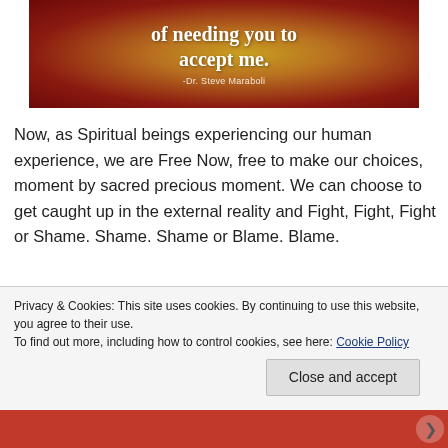[Figure (illustration): A quote image with dark red/amber background and a circular golden light effect. White text reads 'of needing you to accept me.' with attribution '-Dr. Steve Maraboli' below.]
Now, as Spiritual beings experiencing our human experience, we are Free Now, free to make our choices, moment by sacred precious moment. We can choose to get caught up in the external reality and Fight, Fight, Fight or Shame. Shame. Shame or Blame. Blame.
Privacy & Cookies: This site uses cookies. By continuing to use this website, you agree to their use.
To find out more, including how to control cookies, see here: Cookie Policy
Close and accept